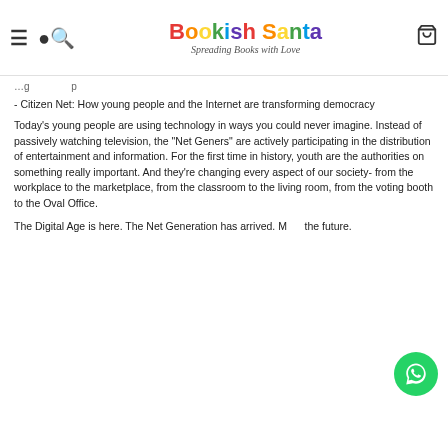Bookish Santa — Spreading Books with Love
- Citizen Net: How young people and the Internet are transforming democracy
Today's young people are using technology in ways you could never imagine. Instead of passively watching television, the "Net Geners" are actively participating in the distribution of entertainment and information. For the first time in history, youth are the authorities on something really important. And they're changing every aspect of our society- from the workplace to the marketplace, from the classroom to the living room, from the voting booth to the Oval Office.
The Digital Age is here. The Net Generation has arrived. Meet the future.